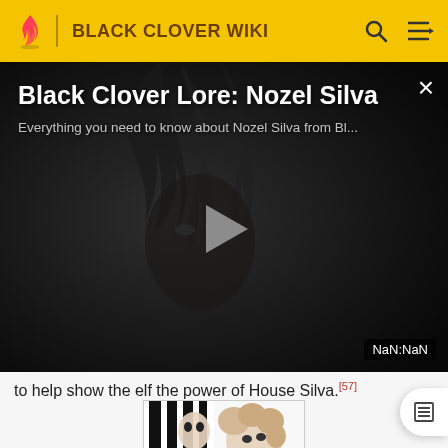BLACK CLOVER WIKI
[Figure (screenshot): Video overlay panel showing Black Clover Lore: Nozel Silva with a dark anime character background, play button, title text, subtitle, close button (×), and NaN:NaN duration badge]
to help show the elf the power of House Silva.[57]
[Figure (illustration): Black and white manga panel showing two characters, one with black and white striped garment and another with curly hair]